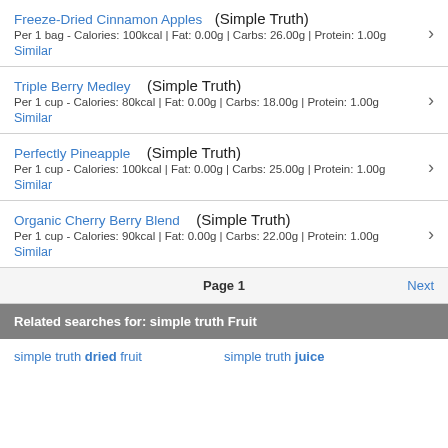Freeze-Dried Cinnamon Apples (Simple Truth)
Per 1 bag - Calories: 100kcal | Fat: 0.00g | Carbs: 26.00g | Protein: 1.00g
Similar
Triple Berry Medley (Simple Truth)
Per 1 cup - Calories: 80kcal | Fat: 0.00g | Carbs: 18.00g | Protein: 1.00g
Similar
Perfectly Pineapple (Simple Truth)
Per 1 cup - Calories: 100kcal | Fat: 0.00g | Carbs: 25.00g | Protein: 1.00g
Similar
Organic Cherry Berry Blend (Simple Truth)
Per 1 cup - Calories: 90kcal | Fat: 0.00g | Carbs: 22.00g | Protein: 1.00g
Similar
Page 1   Next
Related searches for: simple truth Fruit
simple truth dried fruit   simple truth juice